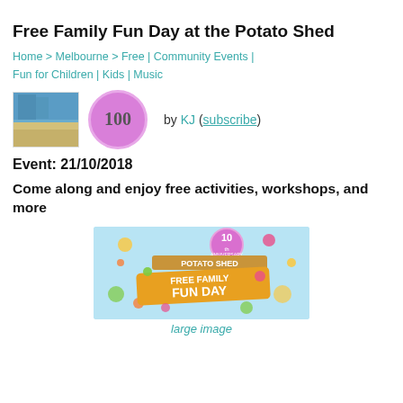Free Family Fun Day at the Potato Shed
Home > Melbourne > Free | Community Events | Fun for Children | Kids | Music
[Figure (photo): Small beach thumbnail photo and a pink circular badge with '100' and author credit 'by KJ (subscribe)']
Event: 21/10/2018
Come along and enjoy free activities, workshops, and more
[Figure (photo): Promotional banner image for Potato Shed Free Family Fun Day with colorful design on light blue background, showing '10th' anniversary badge and 'FREE FAMILY FUN DAY' text]
large image